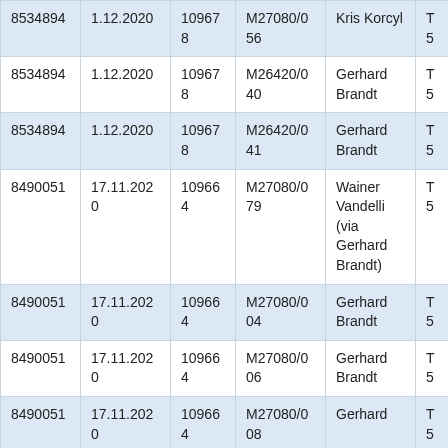| 8534894 | 1.12.2020 | 109678 | M27080/056 | Kris Korcyl | T5 |
| 8534894 | 1.12.2020 | 109678 | M26420/040 | Gerhard Brandt | T5 |
| 8534894 | 1.12.2020 | 109678 | M26420/041 | Gerhard Brandt | T5 |
| 8490051 | 17.11.2020 | 109664 | M27080/079 | Wainer Vandelli (via Gerhard Brandt) | T5 |
| 8490051 | 17.11.2020 | 109664 | M27080/004 | Gerhard Brandt | T5 |
| 8490051 | 17.11.2020 | 109664 | M27080/006 | Gerhard Brandt | T5 |
| 8490051 | 17.11.2020 | 109664 | M27080/008 | Gerhard | T5 |